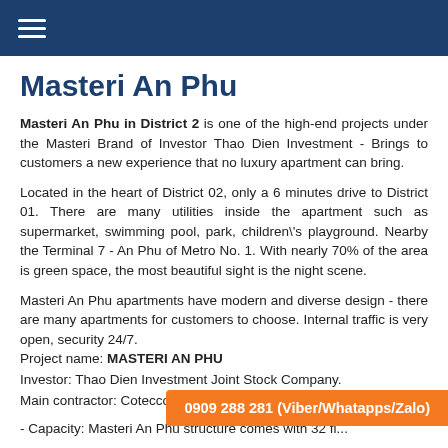Masteri An Phu
Masteri An Phu in District 2 is one of the high-end projects under the Masteri Brand of Investor Thao Dien Investment - Brings to customers a new experience that no luxury apartment can bring.
Located in the heart of District 02, only a 6 minutes drive to District 01. There are many utilities inside the apartment such as supermarket, swimming pool, park, children\'s playground. Nearby the Terminal 7 - An Phu of Metro No. 1. With nearly 70% of the area is green space, the most beautiful sight is the night scene.
Masteri An Phu apartments have modern and diverse design - there are many apartments for customers to choose. Internal traffic is very open, security 24/7.
Project name: MASTERI AN PHU
Investor: Thao Dien Investment Joint Stock Company.
Main contractor: Cotecco
- Capacity: Masteri An Phu structure comes with 32 fl...